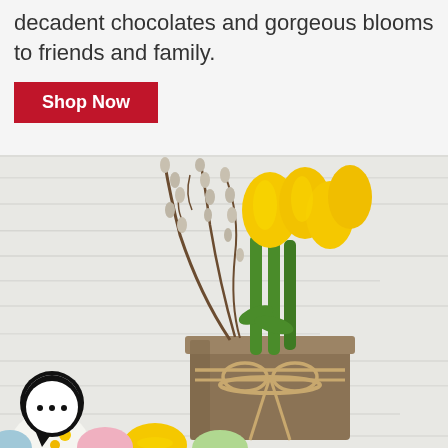decadent chocolates and gorgeous blooms to friends and family.
Shop Now
[Figure (photo): Easter arrangement with yellow tulips and pussy willow branches in a rustic wooden pot tied with twine, surrounded by colorful Easter eggs on a white wooden background. A chat bubble icon with three dots is visible in the bottom left.]